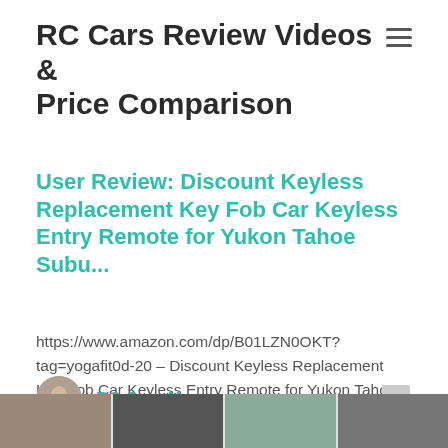RC Cars Review Videos & Price Comparison
User Review: Discount Keyless Replacement Key Fob Car Keyless Entry Remote for Yukon Tahoe Subu...
https://www.amazon.com/dp/B01LZN0OKT?tag=yogafit0d-20 – Discount Keyless Replacement Key Fob Car Keyless Entry Remote for Yukon Tahoe Suburban … [compare_prices_deals] source
RC Cars News
[Figure (photo): Author avatar circular photo of a person]